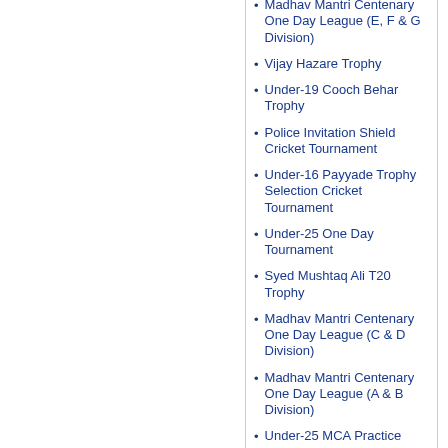Madhav Mantri Centenary One Day League (E, F & G Division)
Vijay Hazare Trophy
Under-19 Cooch Behar Trophy
Police Invitation Shield Cricket Tournament
Under-16 Payyade Trophy Selection Cricket Tournament
Under-25 One Day Tournament
Syed Mushtaq Ali T20 Trophy
Madhav Mantri Centenary One Day League (C & D Division)
Madhav Mantri Centenary One Day League (A & B Division)
Under-25 MCA Practice Matches
Under-19 K.C. Mahindra Shield Selection Tournament